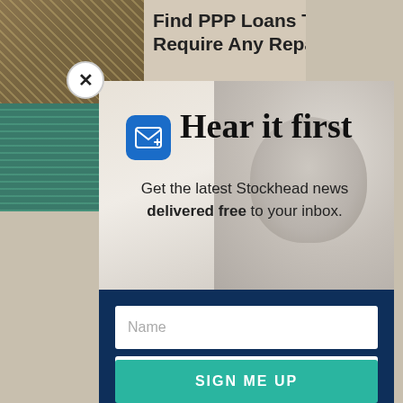[Figure (screenshot): Background showing a partially visible ad: 'Find PPP Loans That Don't Require Any Repayment' with money/cash imagery on the left and a document image below. Partial letter 's' visible on right side.]
[Figure (screenshot): Email newsletter signup modal overlay with groundhog/prairie dog photo background. Blue email icon, 'Hear it first' heading, subtext about Stockhead news, and a dark navy form section with Name field, Email field, and 'SIGN ME UP' button.]
Find PPP Loans That Don't Require Any Repayment
Hear it first
Get the latest Stockhead news delivered free to your inbox.
Name
Email
SIGN ME UP